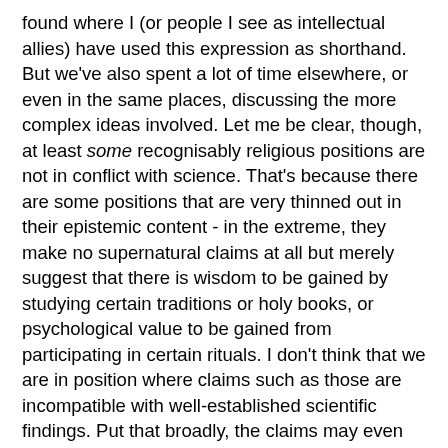found where I (or people I see as intellectual allies) have used this expression as shorthand. But we've also spent a lot of time elsewhere, or even in the same places, discussing the more complex ideas involved. Let me be clear, though, at least some recognisably religious positions are not in conflict with science. That's because there are some positions that are very thinned out in their epistemic content - in the extreme, they make no supernatural claims at all but merely suggest that there is wisdom to be gained by studying certain traditions or holy books, or psychological value to be gained from participating in certain rituals. I don't think that we are in position where claims such as those are incompatible with well-established scientific findings. Put that broadly, the claims may even be true.
Of course, there may also be wisdom to be gained from studying Shakespeare and psychological benefit to be gained from participating in many purely secular activities (sport, sex, whatever).
Furthermore, I see no conflict between science and a range of religious positions that are thinned out to the point of